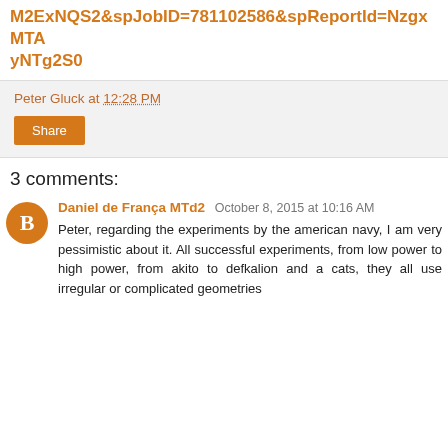M2ExNQS2&spJobID=781102586&spReportId=NzgxMTAyNTg2S0
Peter Gluck at 12:28 PM
Share
3 comments:
Daniel de França MTd2 October 8, 2015 at 10:16 AM
Peter, regarding the experiments by the american navy, I am very pessimistic about it. All successful experiments, from low power to high power, from akito to defkalion and a cats, they all use irregular or complicated geometries